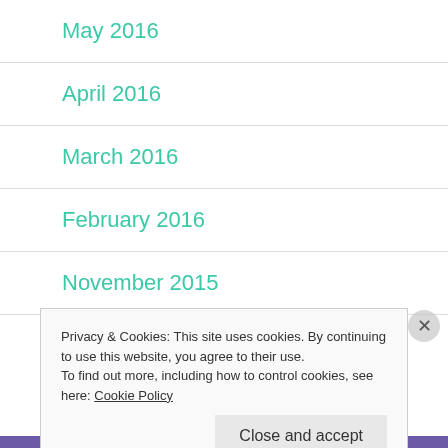May 2016
April 2016
March 2016
February 2016
November 2015
September 2015
Privacy & Cookies: This site uses cookies. By continuing to use this website, you agree to their use.
To find out more, including how to control cookies, see here: Cookie Policy
Close and accept